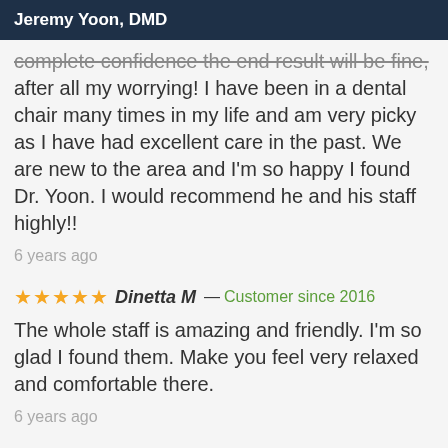Jeremy Yoon, DMD
complete confidence the end result will be fine, after all my worrying! I have been in a dental chair many times in my life and am very picky as I have had excellent care in the past. We are new to the area and I'm so happy I found Dr. Yoon. I would recommend he and his staff highly!!
6 years ago
★★★★★ Dinetta M — Customer since 2016
The whole staff is amazing and friendly. I'm so glad I found them. Make you feel very relaxed and comfortable there.
6 years ago
★★★★★ Joseph (3100) D — Customer since 2015